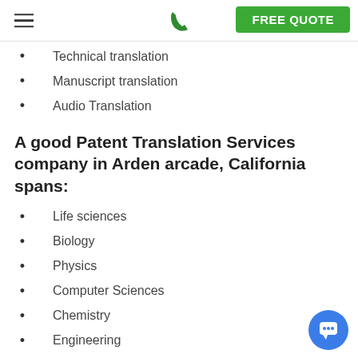FREE QUOTE
Technical translation
Manuscript translation
Audio Translation
A good Patent Translation Services company in Arden arcade, California spans:
Life sciences
Biology
Physics
Computer Sciences
Chemistry
Engineering
Which is a good Academic